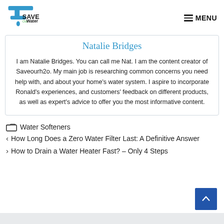Save Our Water — MENU
Natalie Bridges
I am Natalie Bridges. You can call me Nat. I am the content creator of Saveourh2o. My main job is researching common concerns you need help with, and about your home's water system. I aspire to incorporate Ronald's experiences, and customers' feedback on different products, as well as expert's advice to offer you the most informative content.
Water Softeners
< How Long Does a Zero Water Filter Last: A Definitive Answer
> How to Drain a Water Heater Fast? – Only 4 Steps